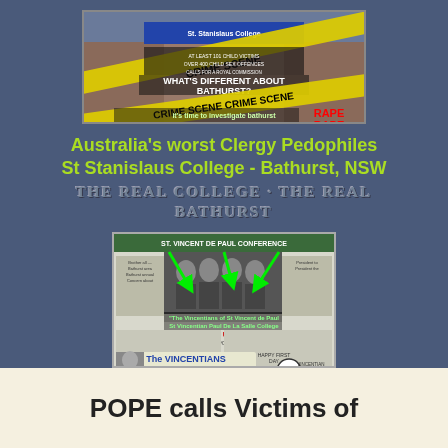[Figure (screenshot): Crime scene tape image with text: WHAT'S DIFFERENT ABOUT BATHURST? it's time to investigate bathurst institutions #NoMore RAPE why have they been immune to any investigation? St Stanislaus College building in background]
Australia's worst Clergy Pedophiles
St Stanislaus College - Bathurst, NSW
THE REAL COLLEGE - THE REAL BATHURST
[Figure (screenshot): Vincentians newsletter/document image with green arrows pointing to group photo, text: The Vincentians HAPPY 101st DAY, St Vincent de Paul Conference, Vincentian Fathers]
POPE calls Victims of